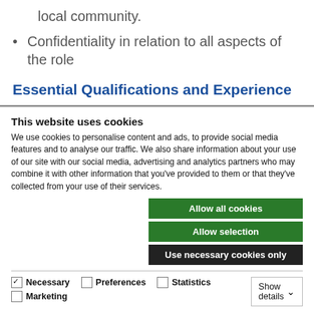local community.
Confidentiality in relation to all aspects of the role
Essential Qualifications and Experience
This website uses cookies
We use cookies to personalise content and ads, to provide social media features and to analyse our traffic. We also share information about your use of our site with our social media, advertising and analytics partners who may combine it with other information that you've provided to them or that they've collected from your use of their services.
Allow all cookies
Allow selection
Use necessary cookies only
Necessary  Preferences  Statistics  Marketing  Show details